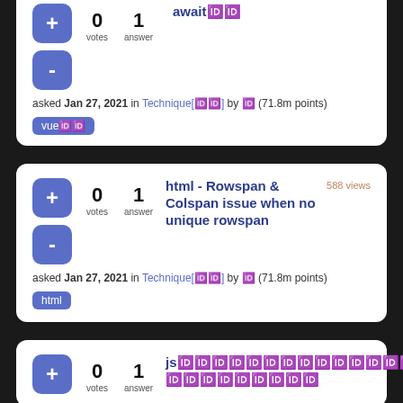asked Jan 27, 2021 in Technique[🔒] by 🔒 (71.8m points) [vue🔒🔒]
588 views | html - Rowspan & Colspan issue when no unique rowspan | 0 votes | 1 answer | asked Jan 27, 2021 in Technique[🔒] by 🔒 (71.8m points) [html]
542 views | js🔒🔒🔒🔒🔒🔒🔒🔒🔒🔒🔒🔒🔒🔒🔒🔒🔒🔒🔒🔒🔒🔒🔒🔒🔒🔒🔒 🔒🔒🔒🔒🔒🔒🔒🔒🔒 | 0 votes | 1 answer